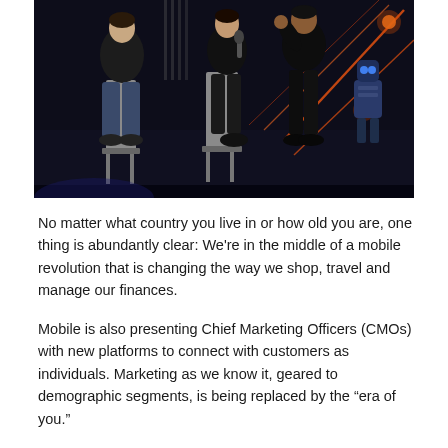[Figure (photo): Three people seated on high stools on a dark stage with orange diagonal lighting accents. Two people are wearing dark clothing. A robot figure is visible on the right side of the stage.]
No matter what country you live in or how old you are, one thing is abundantly clear: We're in the middle of a mobile revolution that is changing the way we shop, travel and manage our finances.
Mobile is also presenting Chief Marketing Officers (CMOs) with new platforms to connect with customers as individuals. Marketing as we know it, geared to demographic segments, is being replaced by the "era of you."